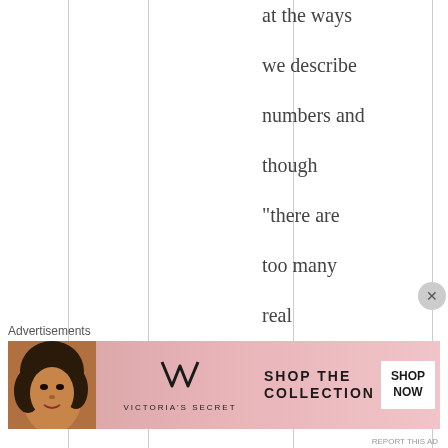at the ways we describe numbers and though “there are too many real numbers comparative ly to descriptions. Thus, there
[Figure (other): Advertisement banner for Victoria's Secret showing a model, VS logo, and 'SHOP THE COLLECTION' with 'SHOP NOW' button]